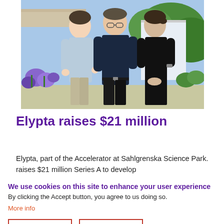[Figure (photo): Three people standing outdoors in front of a building with vegetation, two men and one woman, smiling]
Elypta raises $21 million
Elypta, part of the Accelerator at Sahlgrenska Science Park. raises $21 million Series A to develop
We use cookies on this site to enhance your user experience
By clicking the Accept button, you agree to us doing so.
More info
ACCEPT   NO, THANKS